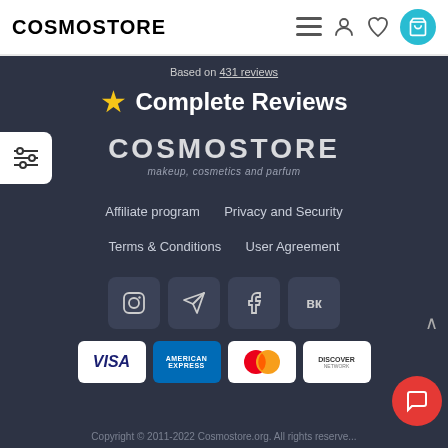[Figure (logo): COSMOSTORE text logo in bold black on white header]
Based on 431 reviews
★ Complete Reviews
[Figure (logo): COSMOSTORE brand logo with tagline: makeup, cosmetics and parfum]
Affiliate program
Privacy and Security
Terms & Conditions
User Agreement
[Figure (infographic): Social media icons: Instagram, Telegram, Facebook, VK in rounded square buttons]
[Figure (infographic): Payment method logos: VISA, American Express, MasterCard, Discover]
Copyright © 2011-2022 Cosmostore.org. All rights reserve...